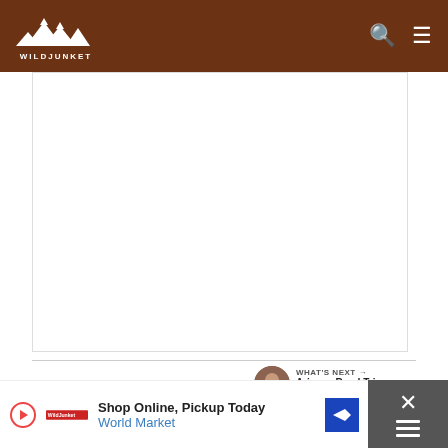WILDJUNKET
[Figure (photo): Large main article image area (white/blank placeholder)]
Florida Itinerary Days — Explore the Paradise Co...
WHAT'S NEXT → Arizona Road Trip: My 2-...
Shop Online, Pickup Today World Market